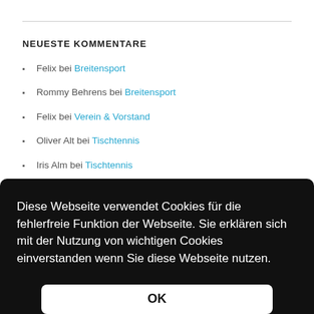NEUESTE KOMMENTARE
Felix bei Breitensport
Rommy Behrens bei Breitensport
Felix bei Verein & Vorstand
Oliver Alt bei Tischtennis
Iris Alm bei Tischtennis
Diese Webseite verwendet Cookies für die fehlerfreie Funktion der Webseite. Sie erklären sich mit der Nutzung von wichtigen Cookies einverstanden wenn Sie diese Webseite nutzen.
OK